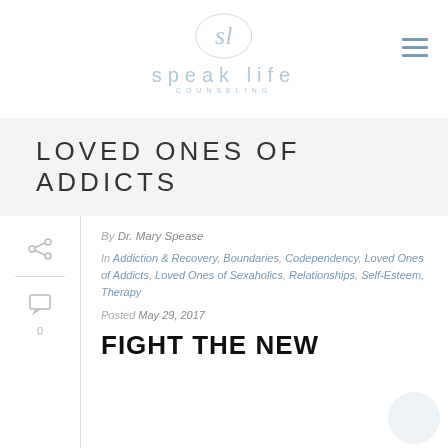[Figure (logo): Speak Life Counseling logo with script 'sl' monogram above text 'speak life COUNSELING' in light blue/grey color]
LOVED ONES OF ADDICTS
By Dr. Mary Spease
In Addiction & Recovery, Boundaries, Codependency, Loved Ones of Addicts, Loved Ones of Sexaholics, Relationships, Self-Esteem, Therapy
Posted May 29, 2017
FIGHT THE NEW